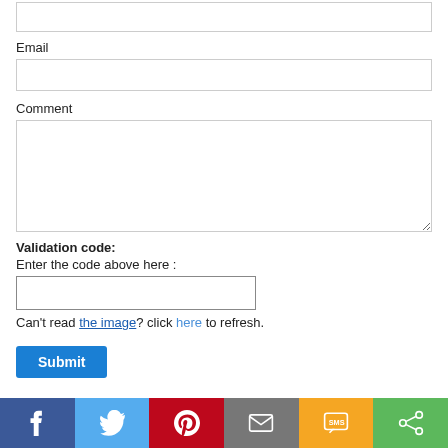Email
Comment
Validation code:
Enter the code above here :
Can't read the image? click here to refresh.
Submit